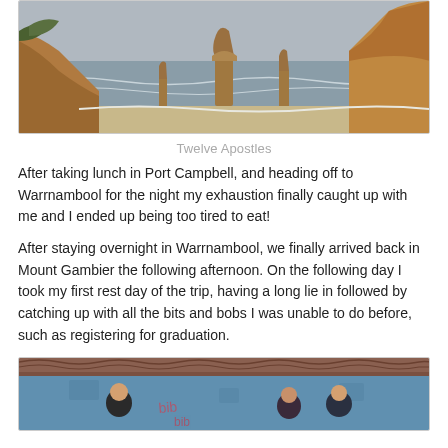[Figure (photo): Coastal landscape showing the Twelve Apostles rock formations rising from the ocean, with cliffs on the right and grey sky above.]
Twelve Apostles
After taking lunch in Port Campbell, and heading off to Warrnambool for the night my exhaustion finally caught up with me and I ended up being too tired to eat!
After staying overnight in Warrnambool, we finally arrived back in Mount Gambier the following afternoon. On the following day I took my first rest day of the trip, having a long lie in followed by catching up with all the bits and bobs I was unable to do before, such as registering for graduation.
[Figure (photo): Three people standing in front of a weathered blue building or shelter with a corrugated iron roof and graffiti on the walls.]